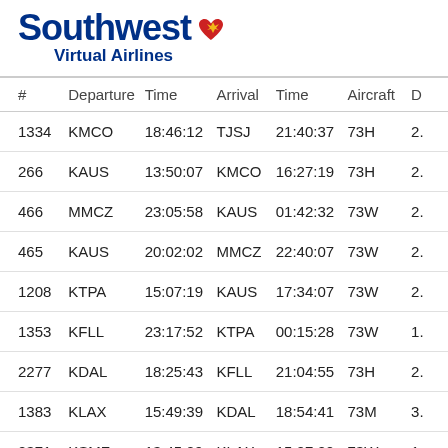Southwest Virtual Airlines
| # | Departure | Time | Arrival | Time | Aircraft | D |
| --- | --- | --- | --- | --- | --- | --- |
| 1334 | KMCO | 18:46:12 | TJSJ | 21:40:37 | 73H | 2. |
| 266 | KAUS | 13:50:07 | KMCO | 16:27:19 | 73H | 2. |
| 466 | MMCZ | 23:05:58 | KAUS | 01:42:32 | 73W | 2. |
| 465 | KAUS | 20:02:02 | MMCZ | 22:40:07 | 73W | 2. |
| 1208 | KTPA | 15:07:19 | KAUS | 17:34:07 | 73W | 2. |
| 1353 | KFLL | 23:17:52 | KTPA | 00:15:28 | 73W | 1. |
| 2277 | KDAL | 18:25:43 | KFLL | 21:04:55 | 73H | 2. |
| 1383 | KLAX | 15:49:39 | KDAL | 18:54:41 | 73M | 3. |
| 2371 | KSMF | 13:45:09 | KLAX | 15:07:20 | 73W | 1. |
| 1778 | KLAX | 14:30:34 | KSMF | 15:52:52 | 73M | 1. |